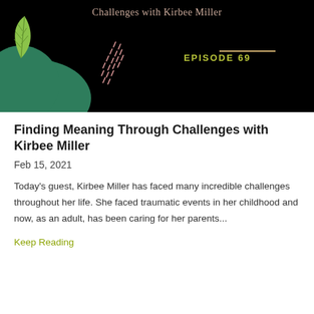[Figure (illustration): Podcast episode thumbnail with black background, green decorative blob shape, leaf illustration, pink dot pattern, gold horizontal line, and episode number 69 in olive/yellow text. Title reads 'Challenges with Kirbee Miller' in pink/rose serif font at top.]
Finding Meaning Through Challenges with Kirbee Miller
Feb 15, 2021
Today's guest, Kirbee Miller has faced many incredible challenges throughout her life. She faced traumatic events in her childhood and now, as an adult, has been caring for her parents...
Keep Reading